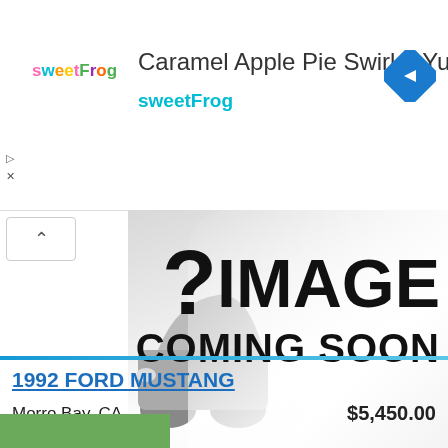[Figure (screenshot): SweetFrog advertisement banner with logo, text 'Caramel Apple Pie Swirl = Yum', brand name 'sweetFrog', and a blue diamond navigation arrow icon]
[Figure (photo): Image Coming Soon placeholder with partial car photo on left and large bold text '?IMAGE COMING SOON' on grey peeling banner background]
1992 FORD MUSTANG
Morro Bay, CA
$5,450.00